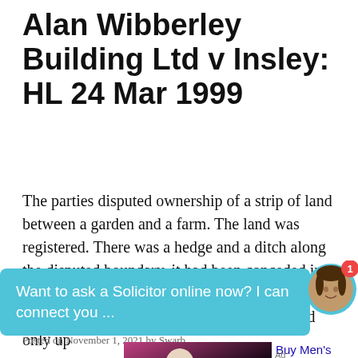Alan Wibberley Building Ltd v Insley: HL 24 Mar 1999
The parties disputed ownership of a strip of land between a garden and a farm. The land was registered. There was a hedge and a ditch along the disputed boundary, it had been conceded in the Court of Appeal that a conveyance of land on the hedge side of the ditch transferred land only up
[Figure (screenshot): Chat bubble overlay: 'Want to ask a Solicitor online now? I can connect you ...' with avatar of a woman with a notification badge]
[Figure (photo): Advertisement image for INCERUNMEN clothing brand showing a male model in white shirt, with text 'Buy Men's Clothing & Fashion']